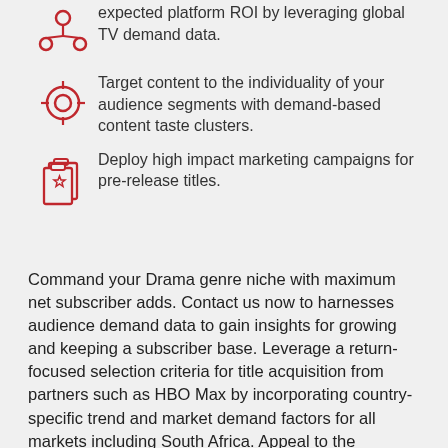expected platform ROI by leveraging global TV demand data.
Target content to the individuality of your audience segments with demand-based content taste clusters.
Deploy high impact marketing campaigns for pre-release titles.
Command your Drama genre niche with maximum net subscriber adds. Contact us now to harnesses audience demand data to gain insights for growing and keeping a subscriber base. Leverage a return-focused selection criteria for title acquisition from partners such as HBO Max by incorporating country-specific trend and market demand factors for all markets including South Africa. Appeal to the individuality of your audience base, taking into consideration the unique and